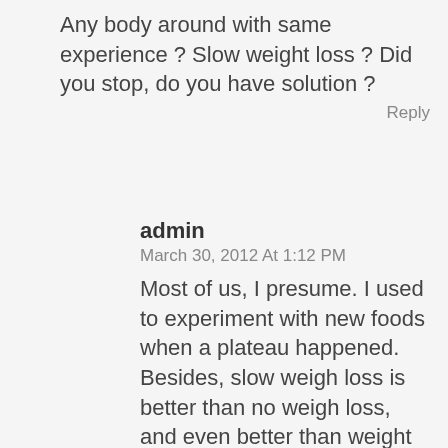Any body around with same experience ? Slow weight loss ? Did you stop, do you have solution ?
Reply
admin
March 30, 2012 At 1:12 PM
Most of us, I presume. I used to experiment with new foods when a plateau happened. Besides, slow weigh loss is better than no weigh loss, and even better than weight gain. How do you feel on this diet? (I mean in general). Some weight fluctuations can be caused by feminine matters. It's a good idea to wait until your period ends (or whatever… umh… I'm not an expert in this field :P) before